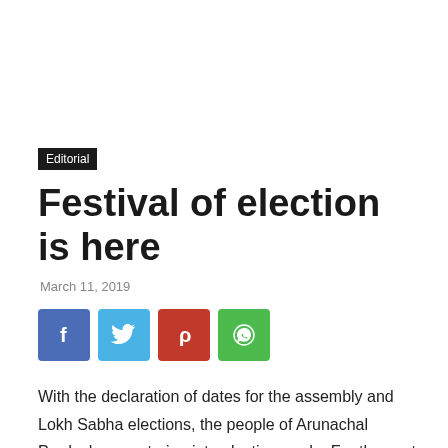Editorial
Festival of election is here
March 11, 2019
[Figure (infographic): Social media share buttons: Facebook (blue), Twitter (light blue), Pinterest (red), WhatsApp (green)]
With the declaration of dates for the assembly and Lokh Sabha elections, the people of Arunachal Pradesh are entering into election mode. For the next one month the entire state will get busy with election process. Election is virtually like a festival in the state. The candidates use every trick in the book to woo the voters. For every one the next